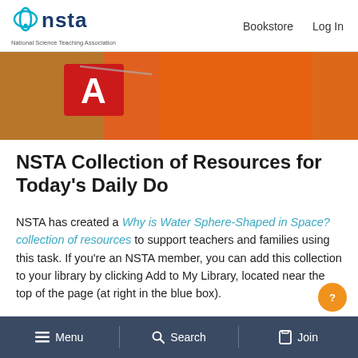NSTA — National Science Teaching Association | Bookstore  Log In
[Figure (photo): Hero image showing a dog wearing an orange vest with a red NSTA logo badge, photographed close-up]
NSTA Collection of Resources for Today's Daily Do
NSTA has created a Why is Water Sphere-Shaped in Space? collection of resources to support teachers and families using this task. If you're an NSTA member, you can add this collection to your library by clicking Add to My Library, located near the top of the page (at right in the blue box).
≡ Menu   🔍 Search   Join